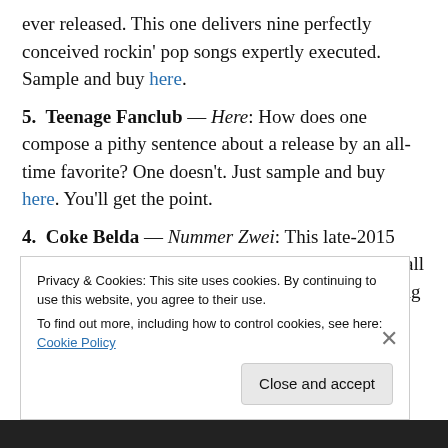ever released. This one delivers nine perfectly conceived rockin' pop songs expertly executed. Sample and buy here.
5. Teenage Fanclub — Here: How does one compose a pithy sentence about a release by an all-time favorite? One doesn't. Just sample and buy here. You'll get the point.
4. Coke Belda — Nummer Zwei: This late-2015 release is a delight from beginning to end, mining all manner of classic pop styles amid sharp songwriting and
Privacy & Cookies: This site uses cookies. By continuing to use this website, you agree to their use.
To find out more, including how to control cookies, see here: Cookie Policy
Close and accept